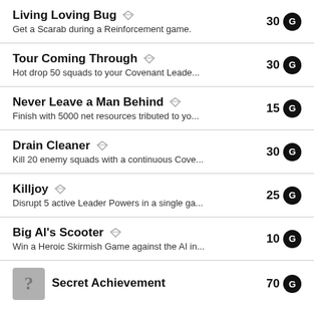Living Loving Bug — Get a Scarab during a Reinforcement game. 30G
Tour Coming Through — Hot drop 50 squads to your Covenant Leade... 30G
Never Leave a Man Behind — Finish with 5000 net resources tributed to yo... 15G
Drain Cleaner — Kill 20 enemy squads with a continuous Cove... 30G
Killjoy — Disrupt 5 active Leader Powers in a single ga... 25G
Big Al's Scooter — Win a Heroic Skirmish Game against the AI in... 10G
Secret Achievement 70G